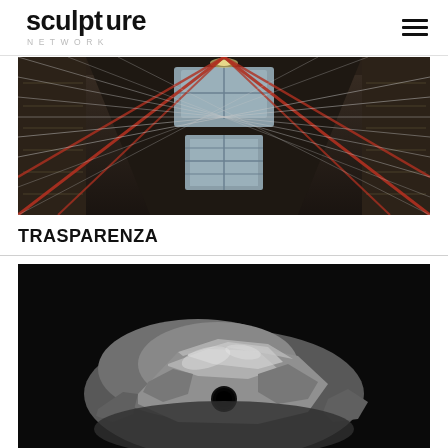sculpture NETWORK
[Figure (photo): Interior of an industrial warehouse or archive space with red diagonal structural beams, tall shelving on both sides, and white string/wire installation running diagonally across the space. Natural light comes from windows at the far end.]
TRASPARENZA
[Figure (photo): A metallic silver-colored rough rock or mineral sculpture with a small dark circular hole/void, photographed against a black background.]